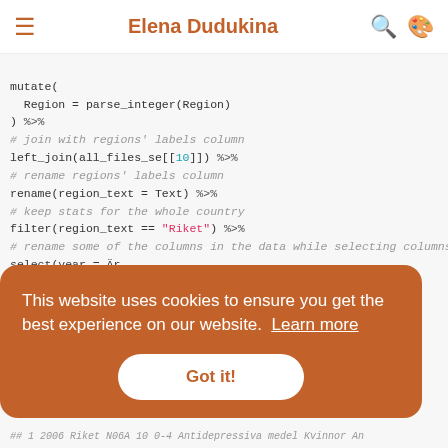Elena Dudukina
mutate(
  Region = parse_integer(Region)
) %>%
# join with regions' labels column
left_join(all_files_se[[10]]) %>%
# rename regions' labels column
rename(region_text = Text) %>%
# keep stats for the whole country
filter(region_text == "Riket") %>%
# rename some of the columns in the data while selecting columns in th
select(year = Är,
       region = region_text,
       ATC,
       values = Värde,
       age_group,
This website uses cookies to ensure you get the best experience on our website. Learn more
Got it!
## 1 2006  Riket  N06A  10    0-4   Antidepressiva medel Kvinnor An